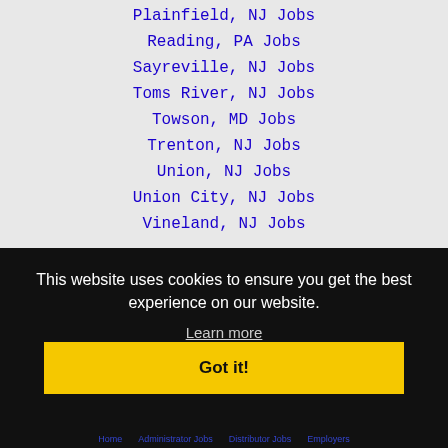Plainfield, NJ Jobs
Reading, PA Jobs
Sayreville, NJ Jobs
Toms River, NJ Jobs
Towson, MD Jobs
Trenton, NJ Jobs
Union, NJ Jobs
Union City, NJ Jobs
Vineland, NJ Jobs
This website uses cookies to ensure you get the best experience on our website.
Learn more
Got it!
Home   Administrator Jobs   Distributor Jobs   Employers